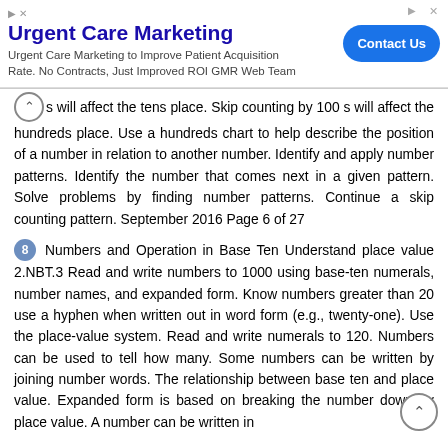[Figure (other): Advertisement banner for Urgent Care Marketing with title, description, and Contact Us button]
s will affect the tens place. Skip counting by 100 s will affect the hundreds place. Use a hundreds chart to help describe the position of a number in relation to another number. Identify and apply number patterns. Identify the number that comes next in a given pattern. Solve problems by finding number patterns. Continue a skip counting pattern. September 2016 Page 6 of 27
8 Numbers and Operation in Base Ten Understand place value 2.NBT.3 Read and write numbers to 1000 using base-ten numerals, number names, and expanded form. Know numbers greater than 20 use a hyphen when written out in word form (e.g., twenty-one). Use the place-value system. Read and write numerals to 120. Numbers can be used to tell how many. Some numbers can be written by joining number words. The relationship between base ten and place value. Expanded form is based on breaking the number down by place value. A number can be written in